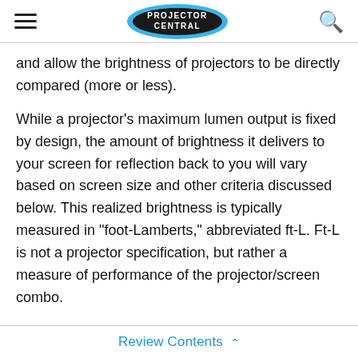PROJECTOR CENTRAL
and allow the brightness of projectors to be directly compared (more or less).
While a projector's maximum lumen output is fixed by design, the amount of brightness it delivers to your screen for reflection back to you will vary based on screen size and other criteria discussed below. This realized brightness is typically measured in "foot-Lamberts," abbreviated ft-L. Ft-L is not a projector specification, but rather a measure of performance of the projector/screen combo.
Review Contents